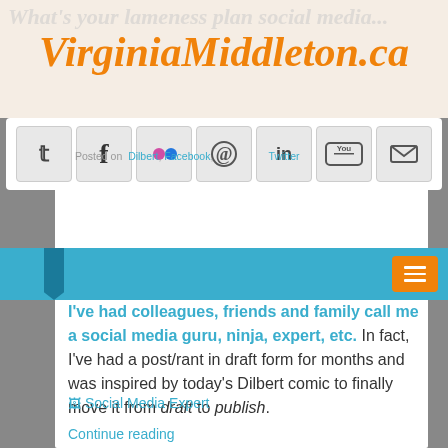VirginiaMiddleton.ca
[Figure (screenshot): Social media icon bar with Twitter, Facebook, Flickr, Pinterest, LinkedIn, YouTube, and email icons]
Posted on ... Dilbert, Facebook, ... Twitter
I've had colleagues, friends and family call me a social media guru, ninja, expert, etc. In fact, I've had a post/rant in draft form for months and was inspired by today's Dilbert comic to finally move it from draft to publish.
[Figure (photo): Broken image placeholder labeled 'Social Media Expert']
Continue reading